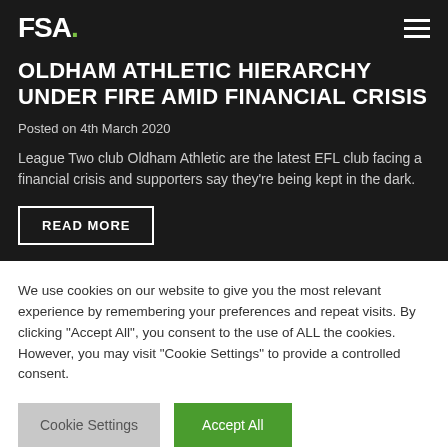FSA.
Oldham Athletic hierarchy under fire amid financial crisis
Posted on 4th March 2020
League Two club Oldham Athletic are the latest EFL club facing a financial crisis and supporters say they're being kept in the dark.
READ MORE
We use cookies on our website to give you the most relevant experience by remembering your preferences and repeat visits. By clicking "Accept All", you consent to the use of ALL the cookies. However, you may visit "Cookie Settings" to provide a controlled consent.